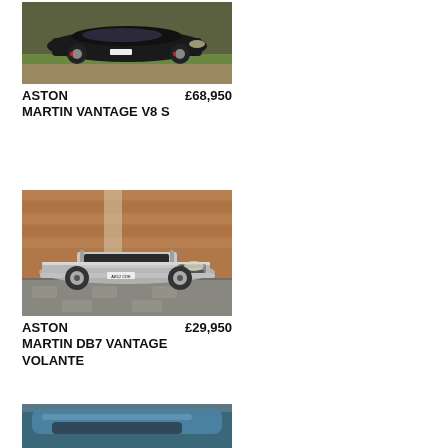[Figure (photo): Black Aston Martin Vantage V8 S sports car parked on gravel with grass in background]
ASTON MARTIN VANTAGE V8 S    £68,950
[Figure (photo): Silver Aston Martin DB7 Vantage Volante convertible parked on cobblestone in front of brick wall]
ASTON MARTIN DB7 VANTAGE VOLANTE    £29,950
[Figure (photo): Partial view of a blue Aston Martin car, showing roof line]